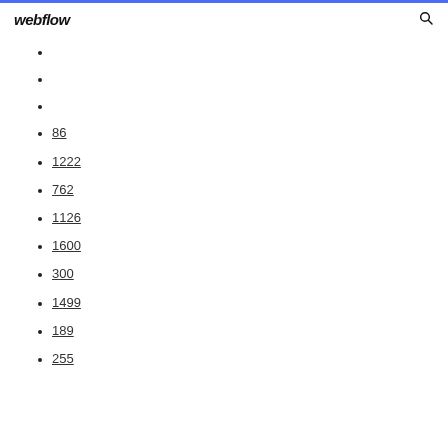webflow
86
1222
762
1126
1600
300
1499
189
255